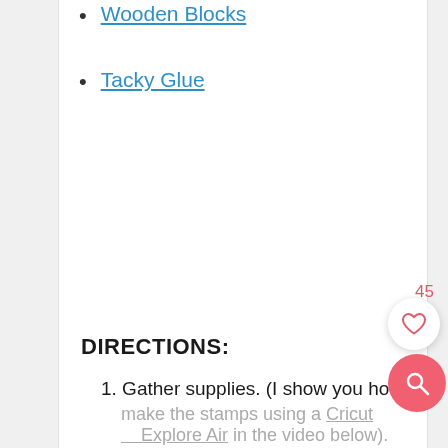Wooden Blocks
Tacky Glue
DIRECTIONS:
1. Gather supplies. (I show you how to make the stamps using a Cricut Explore Air in the video below).